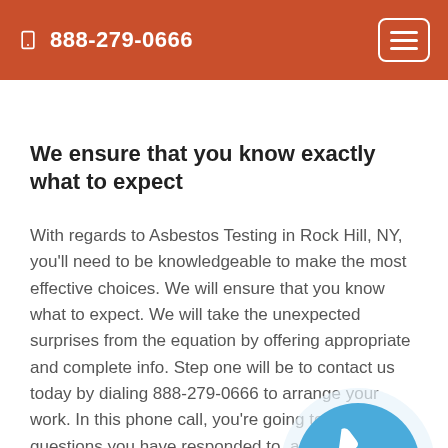888-279-0666
We ensure that you know exactly what to expect
With regards to Asbestos Testing in Rock Hill, NY, you'll need to be knowledgeable to make the most effective choices. We will ensure that you know what to expect. We will take the unexpected surprises from the equation by offering appropriate and complete info. Step one will be to contact us today by dialing 888-279-0666 to arrange your work. In this phone call, you're going to get the questions you have responded to, and we are going to schedule a time to commence services. We always arrive at the
[Figure (illustration): Blue circle phone widget icon in bottom-right corner]